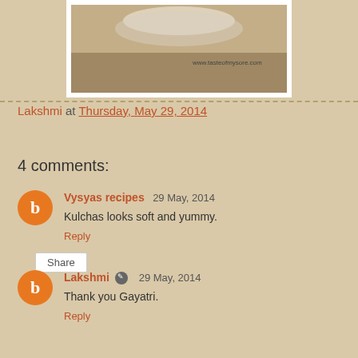[Figure (photo): Partial photo of a dish (kulchas) on a wooden surface with watermark www.tasteofmysore.com, shown partially cropped at top]
Lakshmi at Thursday, May 29, 2014
Share
4 comments:
Vysyas recipes  29 May, 2014
Kulchas looks soft and yummy.
Reply
Lakshmi  29 May, 2014
Thank you Gayatri.
Reply